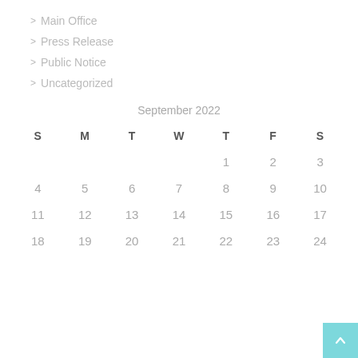> Main Office
> Press Release
> Public Notice
> Uncategorized
|  | S | M | T | W | T | F | S |
| --- | --- | --- | --- | --- | --- | --- | --- |
|  |  |  |  |  | 1 | 2 | 3 |
|  | 4 | 5 | 6 | 7 | 8 | 9 | 10 |
|  | 11 | 12 | 13 | 14 | 15 | 16 | 17 |
|  | 18 | 19 | 20 | 21 | 22 | 23 | 24 |